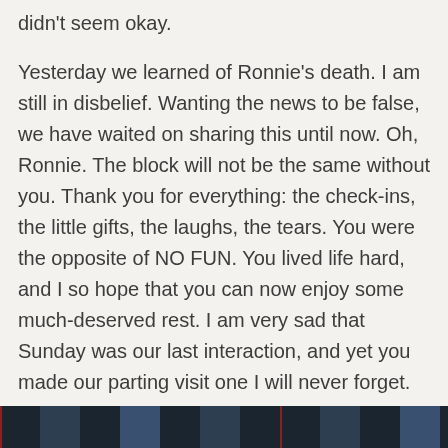didn't seem okay.

Yesterday we learned of Ronnie's death. I am still in disbelief. Wanting the news to be false, we have waited on sharing this until now. Oh, Ronnie. The block will not be the same without you. Thank you for everything: the check-ins, the little gifts, the laughs, the tears. You were the opposite of NO FUN. You lived life hard, and I so hope that you can now enjoy some much-deserved rest. I am very sad that Sunday was our last interaction, and yet you made our parting visit one I will never forget.

Ronald Paul Gallant 1964 – 2022
[Figure (photo): Partial view of a photograph at the bottom of the page showing a dark scene, likely outdoor or vehicle-related.]